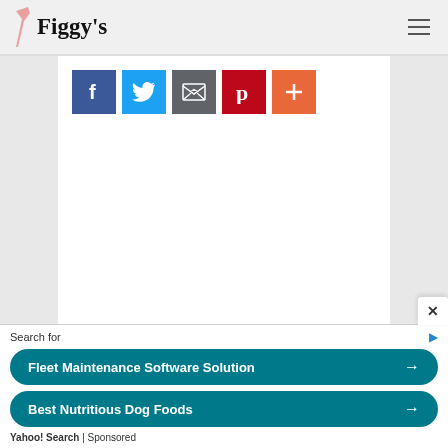[Figure (logo): Figgy's logo with decorative icon and stylized text]
[Figure (infographic): Social sharing buttons: Facebook (blue), Twitter (light blue), Email (gray), Pinterest (dark red), Plus/more (orange)]
Search for
Fleet Maintenance Software Solution →
Best Nutritious Dog Foods →
Yahoo! Search | Sponsored